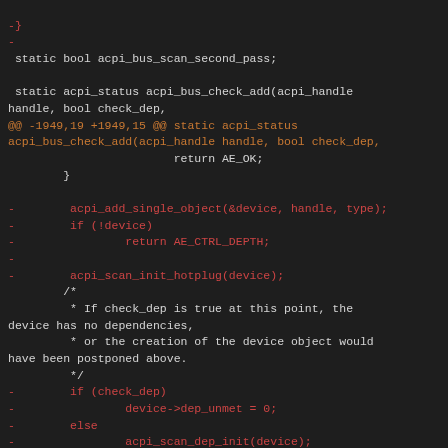Code diff showing changes to acpi_bus_scan_second_pass and acpi_bus_check_add functions in Linux kernel ACPI driver